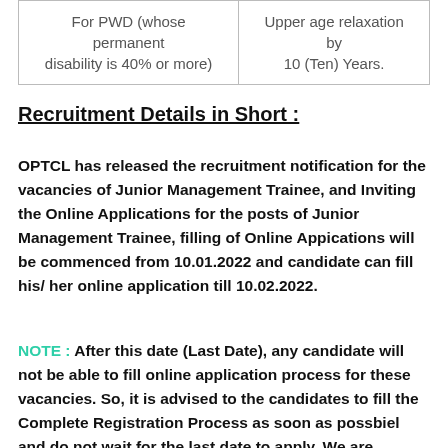| For PWD (whose permanent disability is 40% or more) | Upper age relaxation by 10 (Ten) Years. |
Recruitment Details in Short :
OPTCL has released the recruitment notification for the vacancies of Junior Management Trainee, and Inviting the Online Applications for the posts of Junior Management Trainee, filling of Online Appications will be commenced from 10.01.2022 and candidate can fill his/ her online application till 10.02.2022.
NOTE : After this date (Last Date), any candidate will not be able to fill online application process for these vacancies. So, it is advised to the candidates to fill the Complete Registration Process as soon as possbiel and do not wait for the last date to apply. We are providing